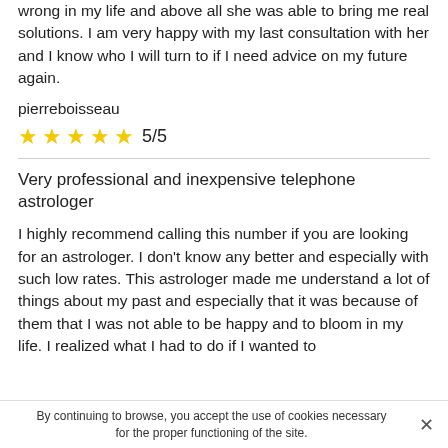wrong in my life and above all she was able to bring me real solutions. I am very happy with my last consultation with her and I know who I will turn to if I need advice on my future again.
pierreboisseau
★★★★★ 5/5
Very professional and inexpensive telephone astrologer
I highly recommend calling this number if you are looking for an astrologer. I don't know any better and especially with such low rates. This astrologer made me understand a lot of things about my past and especially that it was because of them that I was not able to be happy and to bloom in my life. I realized what I had to do if I wanted to
By continuing to browse, you accept the use of cookies necessary for the proper functioning of the site.